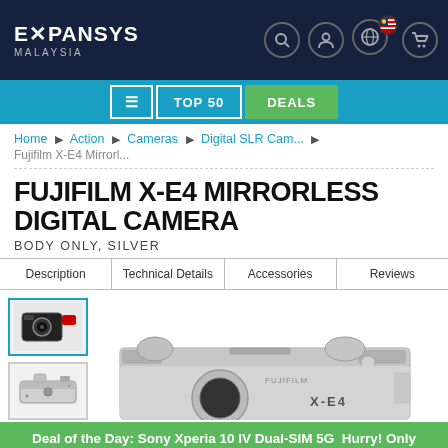EXPANSYS MALAYSIA — navigation header with search, account, region, and cart icons
Menu | TOP 50 | DEALS
Home ▶ Action ▶ Cameras ▶ Digital SLR Cam... ▶ Fujifilm X-E4 Mirrorl...
FUJIFILM X-E4 MIRRORLESS DIGITAL CAMERA
BODY ONLY, SILVER
Description | Technical Details | Accessories | Reviews
[Figure (photo): Thumbnail 1: Front view of Fujifilm X-E4 camera, black/silver]
[Figure (photo): Thumbnail 2: Side/top view of Fujifilm X-E4 camera, silver]
[Figure (photo): Main product image: Fujifilm X-E4 mirrorless camera body, silver, top-down/side angle showing top plate]
Deal of the Day: Sony Xperia 10 IV Dual-SIM 5G  Hurry! Only 03:19:49 left!
B2B / Wholesale  Sell on Expansys!  Partner Program  Forum  Contact